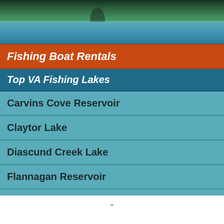[Figure (photo): Scenic lake photo with green forested hills reflected in calm blue-teal water]
Fishing Boat Rentals
Top VA Fishing Lakes
Carvins Cove Reservoir
Claytor Lake
Diascund Creek Lake
Flannagan Reservoir